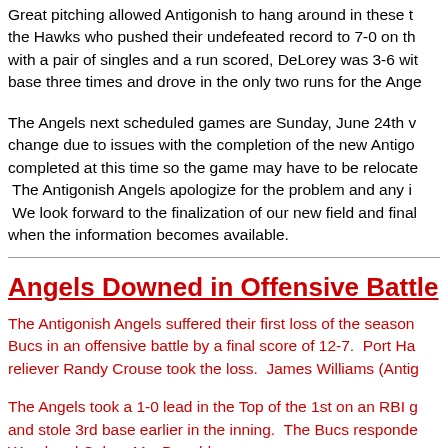Great pitching allowed Antigonish to hang around in these t... the Hawks who pushed their undefeated record to 7-0 on th... with a pair of singles and a run scored, DeLorey was 3-6 wit... base three times and drove in the only two runs for the Ange...
The Angels next scheduled games are Sunday, June 24th v... change due to issues with the completion of the new Antigo... completed at this time so the game may have to be relocate... The Antigonish Angels apologize for the problem and any i... We look forward to the finalization of our new field and final... when the information becomes available.
Angels Downed in Offensive Battle
The Antigonish Angels suffered their first loss of the season... Bucs in an offensive battle by a final score of 12-7. Port Ha... reliever Randy Crouse took the loss. James Williams (Antig...
The Angels took a 1-0 lead in the Top of the 1st on an RBI g... and stole 3rd base earlier in the inning. The Bucs responde... Wood and Cohen MacDonald.